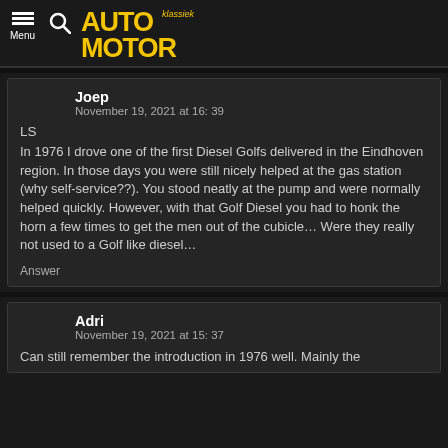Menu | AUTO MOTOR klassiek
Joep
November 19, 2021 at 16: 39
LS
In 1976 I drove one of the first Diesel Golfs delivered in the Eindhoven region. In those days you were still nicely helped at the gas station (why self-service??). You stood neatly at the pump and were normally helped quickly. However, with that Golf Diesel you had to honk the horn a few times to get the men out of the cubicle… Were they really not used to a Golf like diesel…
Answer
Adri
November 19, 2021 at 15: 37
Can still remember the introduction in 1976 well. Mainly the